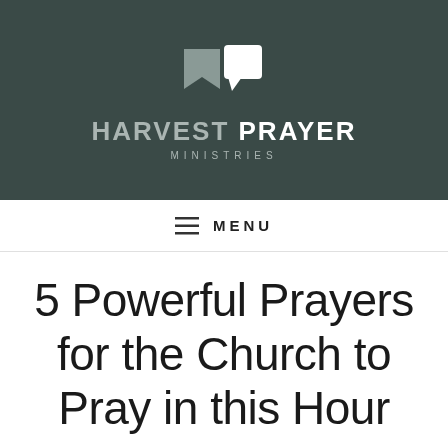[Figure (logo): Harvest Prayer Ministries logo with two flag/speech-bubble shapes in gray and white, and the text HARVEST PRAYER MINISTRIES below]
MENU
5 Powerful Prayers for the Church to Pray in this Hour